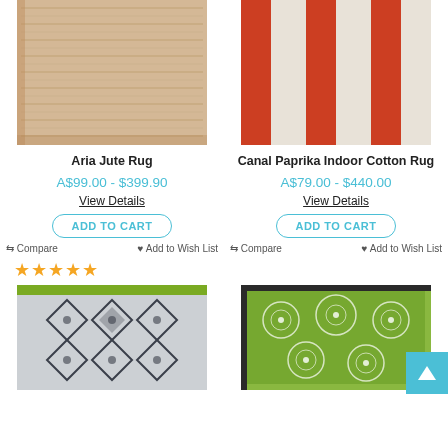[Figure (photo): Aria Jute Rug product photo - natural beige woven jute texture]
[Figure (photo): Canal Paprika Indoor Cotton Rug product photo - red and cream geometric pattern]
Aria Jute Rug
Canal Paprika Indoor Cotton Rug
A$99.00 - $399.90
A$79.00 - $440.00
View Details
View Details
ADD TO CART
ADD TO CART
Compare  Add to Wish List
Compare  Add to Wish List
[Figure (photo): Aztec pattern outdoor rug - dark navy/charcoal geometric diamond pattern on light grey with green border]
[Figure (photo): Floral outdoor rug - green background with white floral pattern, dark border, with scroll-to-top button overlay]